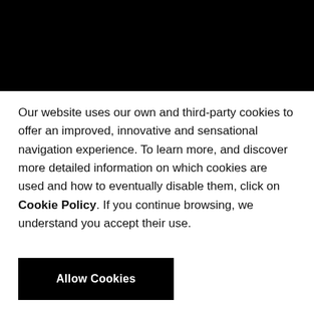[Figure (other): Black banner/header image covering the top portion of the page]
Our website uses our own and third-party cookies to offer an improved, innovative and sensational navigation experience. To learn more, and discover more detailed information on which cookies are used and how to eventually disable them, click on Cookie Policy. If you continue browsing, we understand you accept their use.
Allow Cookies